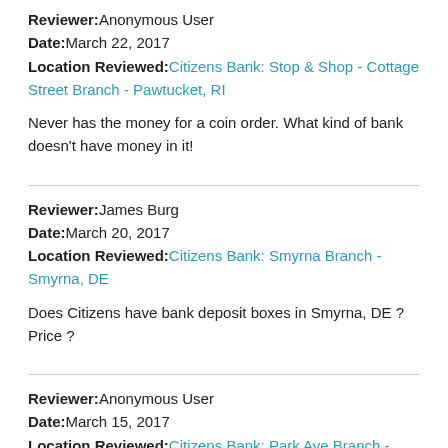Reviewer: Anonymous User
Date: March 22, 2017
Location Reviewed: Citizens Bank: Stop & Shop - Cottage Street Branch - Pawtucket, RI
Never has the money for a coin order. What kind of bank doesn't have money in it!
Reviewer: James Burg
Date: March 20, 2017
Location Reviewed: Citizens Bank: Smyrna Branch - Smyrna, DE
Does Citizens have bank deposit boxes in Smyrna, DE ? Price ?
Reviewer: Anonymous User
Date: March 15, 2017
Location Reviewed: Citizens Bank: Park Ave Branch - Cranston, RI
On Monday, March 13, 2017, My husband and I went to the Citizens branch at 1030 Park Avenue, Cranston RI,